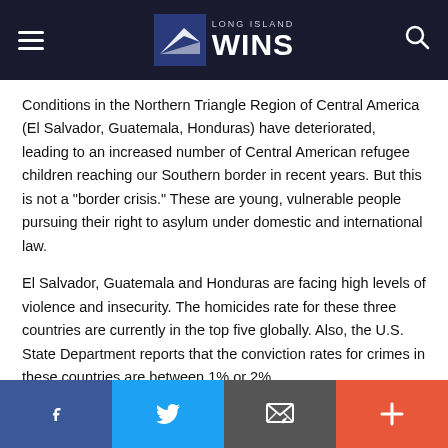Long Island Wins
Conditions in the Northern Triangle Region of Central America (El Salvador, Guatemala, Honduras) have deteriorated, leading to an increased number of Central American refugee children reaching our Southern border in recent years. But this is not a "border crisis." These are young, vulnerable people pursuing their right to asylum under domestic and international law.
El Salvador, Guatemala and Honduras are facing high levels of violence and insecurity. The homicides rate for these three countries are currently in the top five globally. Also, the U.S. State Department reports that the conviction rates for crimes in these countries are between 1% or 2%.
Facebook Twitter Email Share